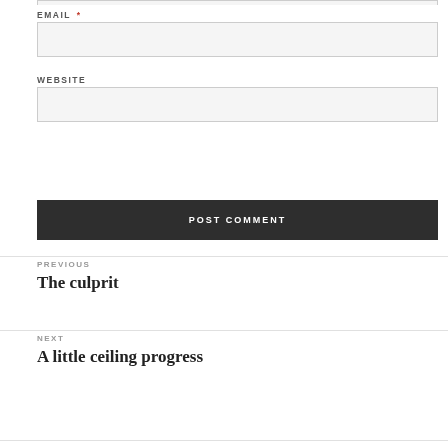EMAIL *
WEBSITE
POST COMMENT
PREVIOUS
The culprit
NEXT
A little ceiling progress